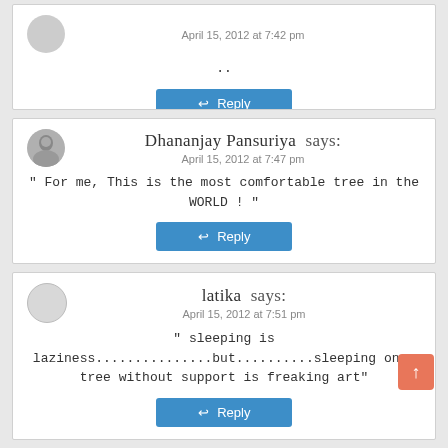..
Reply
Dhananjay Pansuriya says:
April 15, 2012 at 7:47 pm
" For me, This is the most comfortable tree in the WORLD ! "
Reply
latika says:
April 15, 2012 at 7:51 pm
" sleeping is laziness...............but..........sleeping on a tree without support is freaking art"
Reply